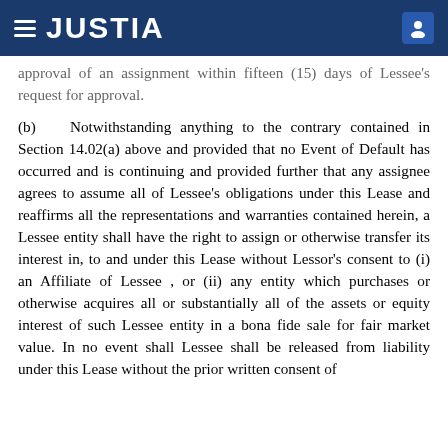JUSTIA
approval of an assignment within fifteen (15) days of Lessee's request for approval.
(b) Notwithstanding anything to the contrary contained in Section 14.02(a) above and provided that no Event of Default has occurred and is continuing and provided further that any assignee agrees to assume all of Lessee's obligations under this Lease and reaffirms all the representations and warranties contained herein, a Lessee entity shall have the right to assign or otherwise transfer its interest in, to and under this Lease without Lessor's consent to (i) an Affiliate of Lessee , or (ii) any entity which purchases or otherwise acquires all or substantially all of the assets or equity interest of such Lessee entity in a bona fide sale for fair market value. In no event shall Lessee shall be released from liability under this Lease without the prior written consent of